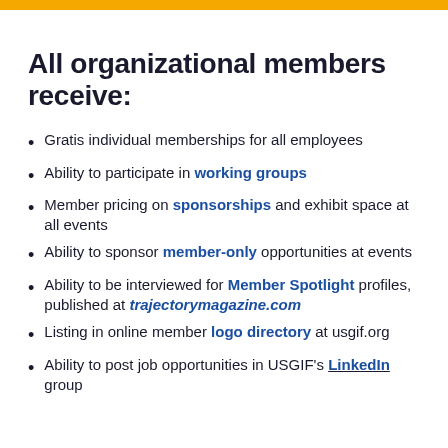All organizational members receive:
Gratis individual memberships for all employees
Ability to participate in working groups
Member pricing on sponsorships and exhibit space at all events
Ability to sponsor member-only opportunities at events
Ability to be interviewed for Member Spotlight profiles, published at trajectorymagazine.com
Listing in online member logo directory at usgif.org
Ability to post job opportunities in USGIF's LinkedIn group